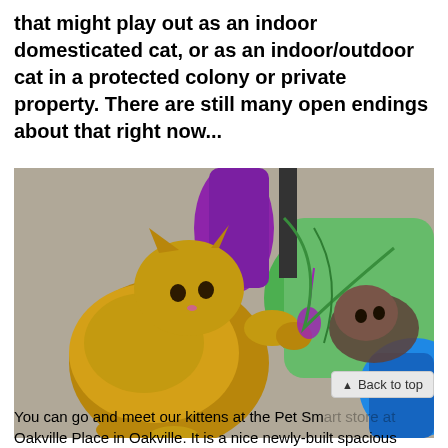that might play out as an indoor domesticated cat, or as an indoor/outdoor cat in a protected colony or private property. There are still many open endings about that right now...
[Figure (photo): Two kittens playing with colorful (purple, green, blue) fabric toy tunnel on a carpeted floor. One kitten is fluffy tabby reaching toward a purple toy, another kitten is inside the green tunnel.]
You can go and meet our kittens at the Pet Smart store at Oakville Place in Oakville. It is a nice newly-built spacious